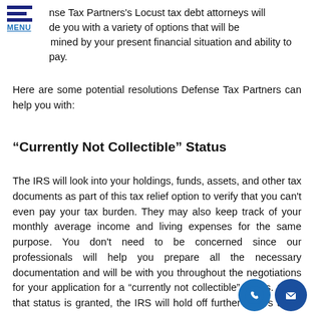nse Tax Partners's Locust tax debt attorneys will de you with a variety of options that will be mined by your present financial situation and ability to pay.
Here are some potential resolutions Defense Tax Partners can help you with:
“Currently Not Collectible” Status
The IRS will look into your holdings, funds, assets, and other tax documents as part of this tax relief option to verify that you can't even pay your tax burden. They may also keep track of your monthly average income and living expenses for the same purpose. You don't need to be concerned since our professionals will help you prepare all the necessary documentation and will be with you throughout the negotiations for your application for a “currently not collectible” status. Once that status is granted, the IRS will hold off further at s t ect from you for a full year to give you t o g our